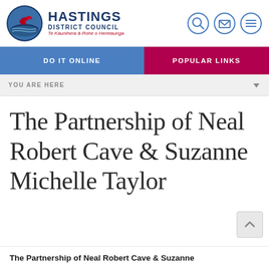Hastings District Council — Te Kaunihera ā-Rohe o Heretaunga
DO IT ONLINE | POPULAR LINKS
YOU ARE HERE
The Partnership of Neal Robert Cave & Suzanne Michelle Taylor
The Partnership of Neal Robert Cave & Suzanne